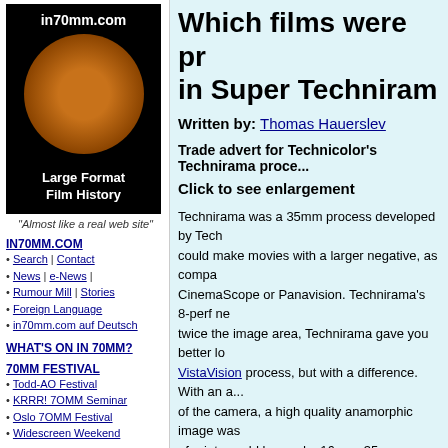[Figure (logo): in70mm.com logo with theater image and text 'Large Format Film History']
"Almost like a real web site"
IN70MM.COM
Search | Contact
News | e-News |
Rumour Mill | Stories
Foreign Language
in70mm.com auf Deutsch
WHAT'S ON IN 70MM?
70MM FESTIVAL
Todd-AO Festival
KRRR! 70MM Seminar
Oslo 70MM Festival
Widescreen Weekend
Which films were produced in Super Technirama
Written by: Thomas Hauerslev
Trade advert for Technicolor's Technirama process
Click to see enlargement
Technirama was a 35mm process developed by Technicolor so they could make movies with a larger negative, as compared to CinemaScope or Panavision. Technirama's 8-perf negative gave twice the image area, Technirama gave you better looking prints. VistaVision process, but with a difference. With an anamorphic lens of the camera, a high quality anamorphic image was achieved. A variety of prints could be made, 16mm, 35mm scope as well as Super Technirama 70.
The Technirama history has been documented by many, including the 70mm Newsletter, June 2000.
Many films were produced in Technirama in Europe in the '50s and '60s including "Spartacus", "Custer of the West", and other popular movies, and shown all over the world. Tech...